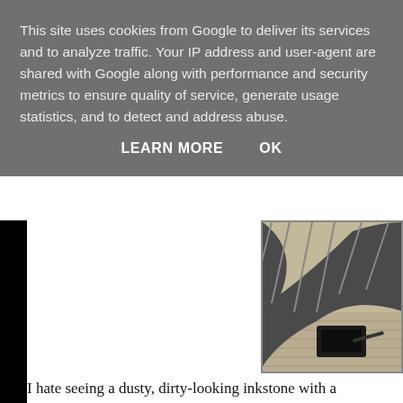This site uses cookies from Google to deliver its services and to analyze traffic. Your IP address and user-agent are shared with Google along with performance and security metrics to ensure quality of service, generate usage statistics, and to detect and address abuse.
LEARN MORE    OK
[Figure (photo): Partial black-and-white photograph of Japanese items including striped fabric/kimono and an inkstone on a tatami mat surface]
I hate seeing a dusty, dirty-looking inkstone with a